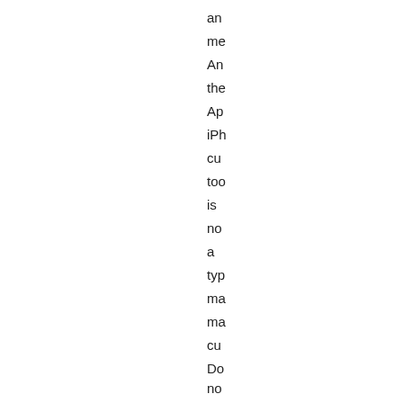an
me
An
the
Ap
iPh
cu
too
is
no
a
typ
ma
ma
cu
Do
no
thi